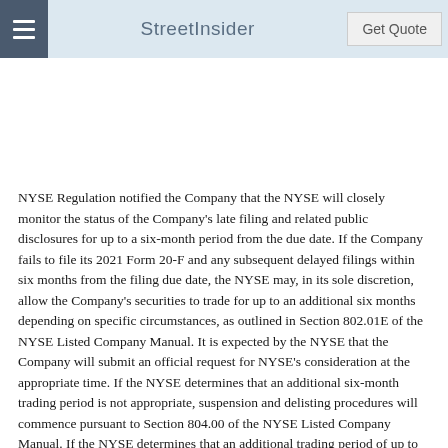StreetInsider | Get Quote
NYSE Regulation notified the Company that the NYSE will closely monitor the status of the Company's late filing and related public disclosures for up to a six-month period from the due date. If the Company fails to file its 2021 Form 20-F and any subsequent delayed filings within six months from the filing due date, the NYSE may, in its sole discretion, allow the Company's securities to trade for up to an additional six months depending on specific circumstances, as outlined in Section 802.01E of the NYSE Listed Company Manual. It is expected by the NYSE that the Company will submit an official request for NYSE's consideration at the appropriate time. If the NYSE determines that an additional six-month trading period is not appropriate, suspension and delisting procedures will commence pursuant to Section 804.00 of the NYSE Listed Company Manual. If the NYSE determines that an additional trading period of up to six months is appropriate and the Company fails to file its 2021 Form 20-F and any subsequent delayed filings by the end of that period, suspension and delisting procedures will generally commence. Regardless of the